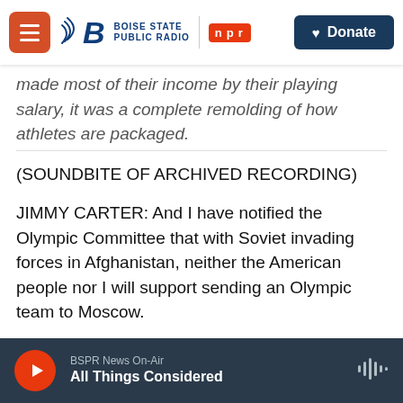Boise State Public Radio | NPR | Donate
made most of their income by their playing salary, it was a complete remolding of how athletes are packaged.
(SOUNDBITE OF ARCHIVED RECORDING)
JIMMY CARTER: And I have notified the Olympic Committee that with Soviet invading forces in Afghanistan, neither the American people nor I will support sending an Olympic team to Moscow.
(APPLAUSE)
WERTHEIM: These were rough times for the
BSPR News On-Air | All Things Considered